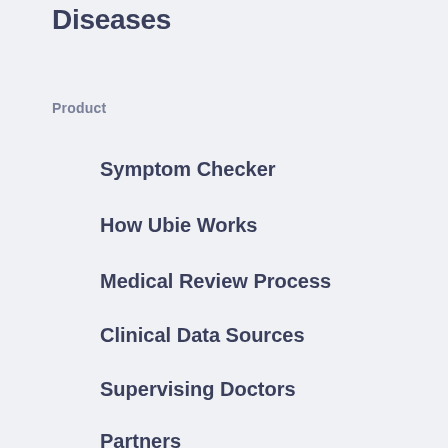Diseases
Product
Symptom Checker
How Ubie Works
Medical Review Process
Clinical Data Sources
Supervising Doctors
Partners
Corporate
About Us
Careers